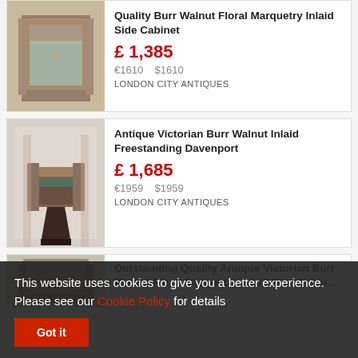[Figure (photo): Antique burr walnut floral marquetry inlaid side cabinet with glass door]
Quality Burr Walnut Floral Marquetry Inlaid Side Cabinet
£ 1,385
€1610    $1610
LONDON CITY ANTIQUES
[Figure (photo): Antique Victorian burr walnut inlaid freestanding davenport desk]
Antique Victorian Burr Walnut Inlaid Freestanding Davenport
£ 1,685
€1959    $1959
LONDON CITY ANTIQUES
[Figure (photo): Partial view of antique Victorian piece]
Outstanding Quality Antique Victorian Burr Walnut Floral Marquetry Inlaid Side Cabinet
This website uses cookies to give you a better experience. Please see our Cookie Policy for details